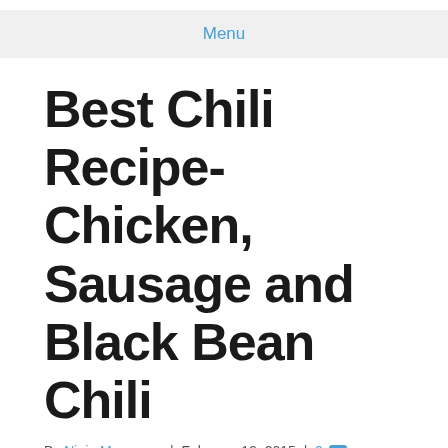Menu
Best Chili Recipe- Chicken, Sausage and Black Bean Chili
By Ninja Mommers | February 19, 2015 | 0
[Figure (other): Pinterest Save button with count 97]
[Figure (other): Sharing is caring! arrow graphic with social share buttons: Twitter, Facebook, Email, Yummly, and another green share button]